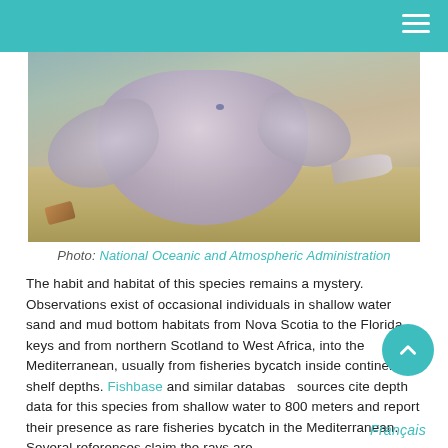[Figure (photo): Close-up photograph of a pale pinkish-grey ray (electric ray or similar species) resting on a sandy/muddy seafloor bottom. The ray's flat body, pectoral fins, and eyes are visible from above.]
Photo: National Oceanic and Atmospheric Administration
The habit and habitat of this species remains a mystery. Observations exist of occasional individuals in shallow water sand and mud bottom habitats from Nova Scotia to the Florida keys and from northern Scotland to West Africa, into the Mediterranean, usually from fisheries bycatch inside continental shelf depths. Fishbase and similar database sources cite depth data for this species from shallow water to 800 meters and report their presence as rare fisheries bycatch in the Mediterranean. Several references claim the rays are benthic bottom dwellers when younger and become m